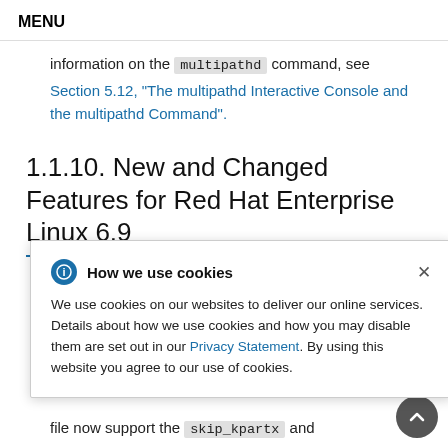MENU
information on the multipathd command, see Section 5.12, "The multipathd Interactive Console and the multipathd Command".
1.1.10. New and Changed Features for Red Hat Enterprise Linux 6.9
[Figure (infographic): Cookie consent popup overlay with title 'How we use cookies', info icon, close button, and body text about cookie usage with a Privacy Statement link.]
file now support the skip_kpartx and